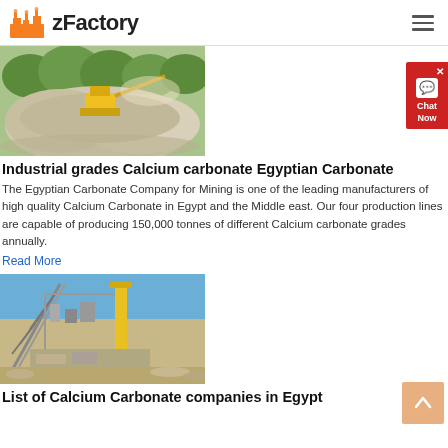zFactory
[Figure (photo): Quarry mining site with yellow machinery and large piles of white/grey crushed stone or limestone, with green trees in background]
Industrial grades Calcium carbonate Egyptian Carbonate
The Egyptian Carbonate Company for Mining is one of the leading manufacturers of high quality Calcium Carbonate in Egypt and the Middle east. Our four production lines are capable of producing 150,000 tonnes of different Calcium carbonate grades annually.
Read More
[Figure (photo): Industrial conveyor belt and processing plant for calcium carbonate or mining, with yellow tower crane, blue sky background, and arid landscape]
List of Calcium Carbonate companies in Egypt